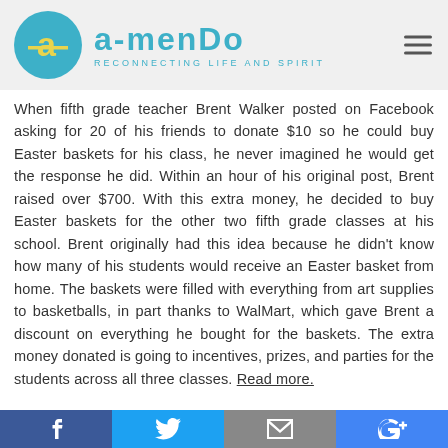[Figure (logo): Amendo logo: teal circle with yellow letter 'a', teal wordmark 'a-menDo', tagline 'RECONNECTING LIFE AND SPIRIT']
When fifth grade teacher Brent Walker posted on Facebook asking for 20 of his friends to donate $10 so he could buy Easter baskets for his class, he never imagined he would get the response he did. Within an hour of his original post, Brent raised over $700. With this extra money, he decided to buy Easter baskets for the other two fifth grade classes at his school. Brent originally had this idea because he didn't know how many of his students would receive an Easter basket from home. The baskets were filled with everything from art supplies to basketballs, in part thanks to WalMart, which gave Brent a discount on everything he bought for the baskets. The extra money donated is going to incentives, prizes, and parties for the students across all three classes. Read more.
Devoted Husband Builds All-Terrain Wheelchair for Wife
[Figure (infographic): Social share footer bar with icons: Facebook (blue), Twitter (cyan), Email (gray), Google+ (blue)]